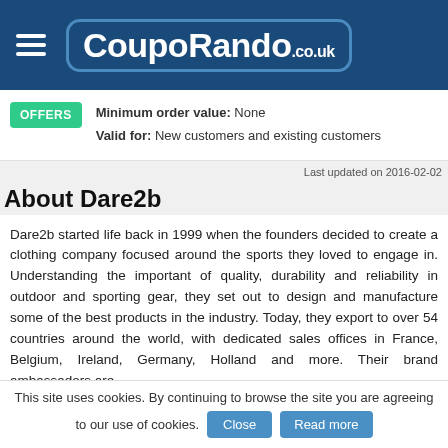CoupoRando.co.uk
OFFERS
Minimum order value: None
Valid for: New customers and existing customers
Last updated on 2016-02-02
About Dare2b
Dare2b started life back in 1999 when the founders decided to create a clothing company focused around the sports they loved to engage in. Understanding the important of quality, durability and reliability in outdoor and sporting gear, they set out to design and manufacture some of the best products in the industry. Today, they export to over 54 countries around the world, with dedicated sales offices in France, Belgium, Ireland, Germany, Holland and more. Their brand ambassadors are
This site uses cookies. By continuing to browse the site you are agreeing to our use of cookies.